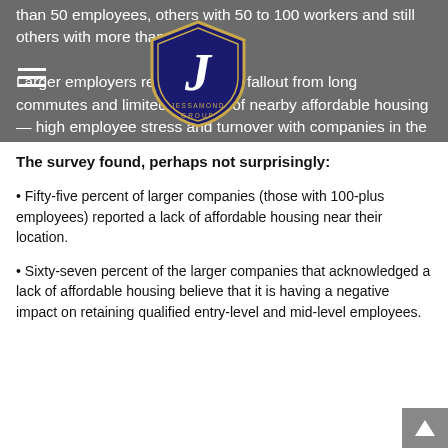than 50 employees, others with 50 to 100 workers and still others with more than 100.
Larger employers recognized the fallout from long commutes and limited supplies of nearby affordable housing — high employee stress and turnover with companies in the West most likely to acknowledge the problems.
The survey found, perhaps not surprisingly:
• Fifty-five percent of larger companies (those with 100-plus employees) reported a lack of affordable housing near their location.
• Sixty-seven percent of the larger companies that acknowledged a lack of affordable housing believe that it is having a negative impact on retaining qualified entry-level and mid-level employees.